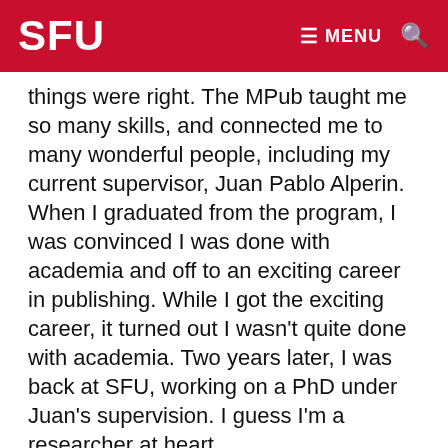SFU  ≡ MENU 🔍
things were right. The MPub taught me so many skills, and connected me to many wonderful people, including my current supervisor, Juan Pablo Alperin. When I graduated from the program, I was convinced I was done with academia and off to an exciting career in publishing. While I got the exciting career, it turned out I wasn't quite done with academia. Two years later, I was back at SFU, working on a PhD under Juan's supervision. I guess I'm a researcher at heart.
HOW WOULD YOU DESCRIBE YOUR RESEARCH OR YOUR PROGRAM TO A FAMILY MEMBER?
Most of the science you read about in the news has gone through what's known as peer review—a process during which independent experts critically read the study,